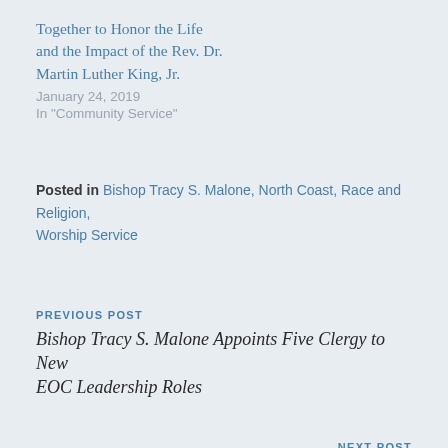Together to Honor the Life and the Impact of the Rev. Dr. Martin Luther King, Jr.
January 24, 2019
In "Community Service"
Posted in Bishop Tracy S. Malone, North Coast, Race and Religion, Worship Service
PREVIOUS POST
Bishop Tracy S. Malone Appoints Five Clergy to New EOC Leadership Roles
NEXT POST
EOC Meets Teach • Reach • Bless Commitment Goal Challenge Gift to Accelerate the Collection of Funds